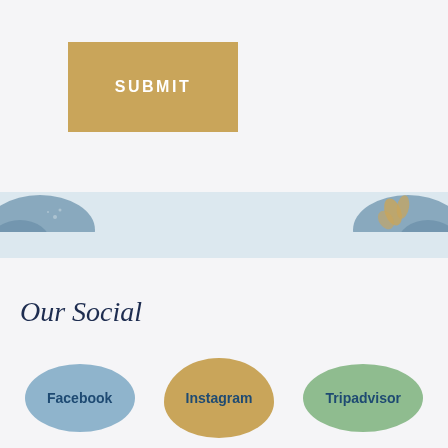SUBMIT
[Figure (illustration): Decorative band with blue watercolor mountain/landscape shapes on the left and a blue illustration with gold plant/leaf on the right]
Our Social
Facebook
Instagram
Tripadvisor